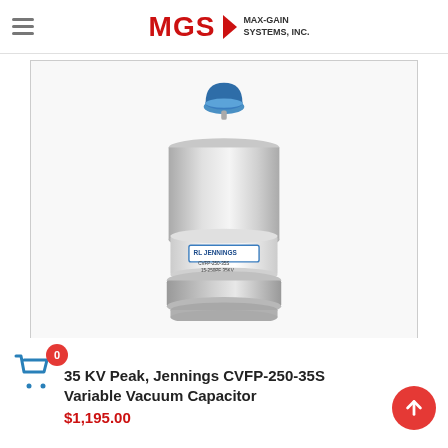MGS MAX-GAIN SYSTEMS, INC.
[Figure (photo): Jennings CVFP-250-35S vacuum variable capacitor product photo. Silver cylindrical metal body with white ceramic band labeled RL JENNINGS, blue dome-shaped terminal on top, metallic base at bottom. Label reads CVFP-250-35S 15-250PF 35KV.]
35 KV Peak, Jennings CVFP-250-35S Variable Vacuum Capacitor
$1,195.00